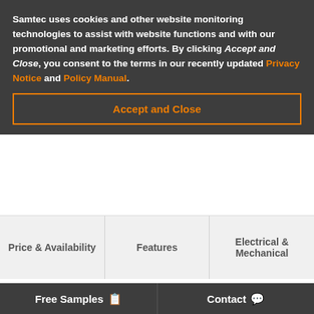Samtec uses cookies and other website monitoring technologies to assist with website functions and with our promotional and marketing efforts. By clicking Accept and Close, you consent to the terms in our recently updated Privacy Notice and Policy Manual.
Accept and Close
Price & Availability
Features
Electrical & Mechanical
< GRF1-P
GRF1-P-C-04-0970-C1-D-S
Free Samples   Contact